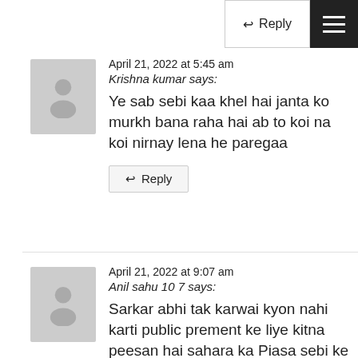Reply (button, top area)
April 21, 2022 at 5:45 am
Krishna kumar says:
Ye sab sebi kaa khel hai janta ko murkh bana raha hai ab to koi na koi nirnay lena he paregaa
Reply
April 21, 2022 at 9:07 am
Anil sahu 10 7 says:
Sarkar abhi tak karwai kyon nahi karti public prement ke liye kitna peesan hai sahara ka Piasa sebi ke Paas Hai to paisa public ko kyon nahi mil